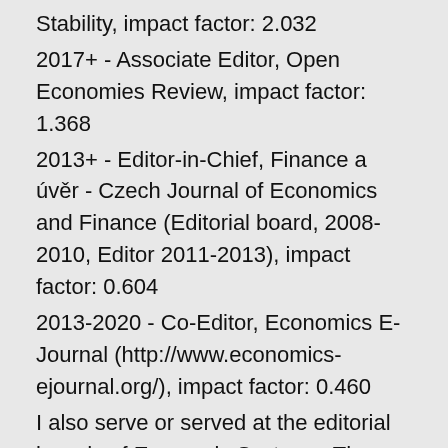Stability, impact factor: 2.032
2017+ - Associate Editor, Open Economies Review, impact factor: 1.368
2013+ - Editor-in-Chief, Finance a úvěr - Czech Journal of Economics and Finance (Editorial board, 2008-2010, Editor 2011-2013), impact factor: 0.604
2013-2020 - Co-Editor, Economics E-Journal (http://www.economics-ejournal.org/), impact factor: 0.460
I also serve or served at the editorial boards of Economic Systems, The Review of Business, Panoeconomicus, Czech Economic Review, among others.
Guest editor for the special issues at Open Economies Review, Economic Systems (2x), Czech